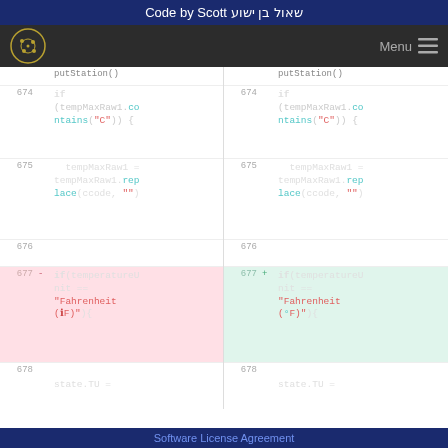Code by Scott שאול בן ישוע
[Figure (screenshot): Navigation bar with cookie logo and Menu hamburger icon]
Code diff view showing lines 674-678 with syntax-highlighted code. Left pane (old): line 674: if (tempMaxRaw1.contains("C")) {, line 675: tempMaxRaw1 = tempMaxRaw1.replace(ccode, ""), line 676: (blank), line 677: - if(temperatureUnit == "Fahrenheit (°F)"){ , line 678: state.TU =. Right pane (new): same lines 674-678 with line 677 marked + in green.
Software License Agreement